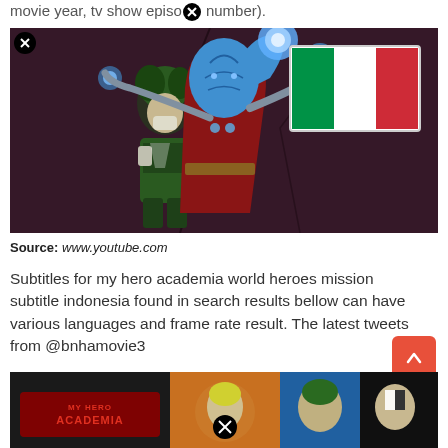movie year, tv show episode number).
[Figure (illustration): Anime screenshot from My Hero Academia World Heroes Mission showing two characters - Deku in battle gear and a blue-skinned villain in red, with an Italian flag overlay in top right corner]
Source: www.youtube.com
Subtitles for my hero academia world heroes mission subtitle indonesia found in search results bellow can have various languages and frame rate result. The latest tweets from @bnhamovie3
[Figure (screenshot): Bottom portion of a My Hero Academia movie promotional image showing the logo and anime characters]